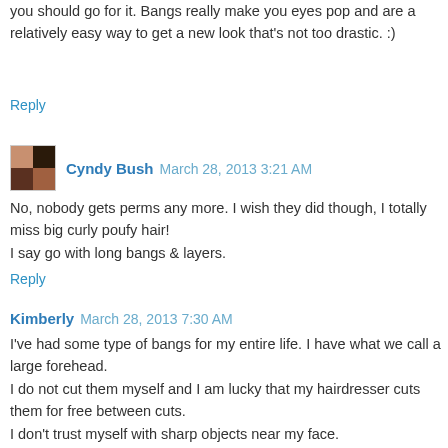you should go for it. Bangs really make you eyes pop and are a relatively easy way to get a new look that's not too drastic. :)
Reply
Cyndy Bush  March 28, 2013 3:21 AM
No, nobody gets perms any more. I wish they did though, I totally miss big curly poufy hair!
I say go with long bangs & layers.
Reply
Kimberly  March 28, 2013 7:30 AM
I've had some type of bangs for my entire life. I have what we call a large forehead.
I do not cut them myself and I am lucky that my hairdresser cuts them for free between cuts.
I don't trust myself with sharp objects near my face.
But they are very versatile. You can push them to the side when you don't want them. It's the growing out part that's a